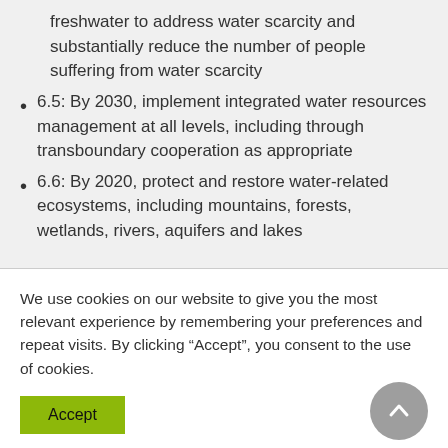freshwater to address water scarcity and substantially reduce the number of people suffering from water scarcity
6.5: By 2030, implement integrated water resources management at all levels, including through transboundary cooperation as appropriate
6.6: By 2020, protect and restore water-related ecosystems, including mountains, forests, wetlands, rivers, aquifers and lakes
We use cookies on our website to give you the most relevant experience by remembering your preferences and repeat visits. By clicking “Accept”, you consent to the use of cookies.